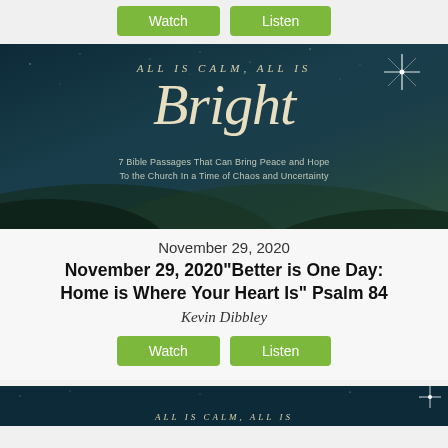[Figure (other): Two green buttons labeled Watch and Listen at the top of the page on a light gray background]
[Figure (illustration): Dark teal/navy Christmas sermon series image with text: ALL IS CALM, ALL IS / Bright (large script font) / 7 Bible Passages That Can Bring Peace and Hope To the Church In a Time of Chaos and Uncertainty. A bright star shines in upper right corner.]
November 29, 2020
November 29, 2020"Better is One Day: Home is Where Your Heart Is" Psalm 84
Kevin Dibbley
[Figure (other): Two green buttons labeled Watch and Listen]
[Figure (illustration): Partial view of another dark teal sermon series image at the bottom, same series: ALL IS CALM, ALL IS BRIGHT]